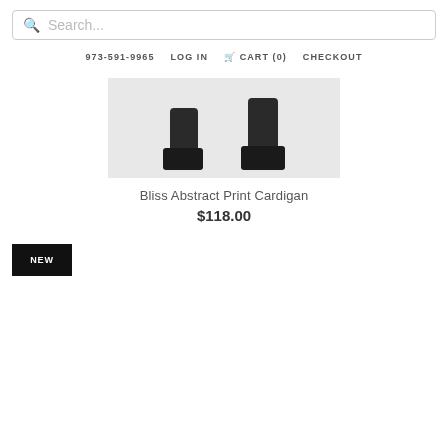Search...
973-591-9965  LOG IN  CART (0)  CHECKOUT
[Figure (photo): Partial view of a person wearing a cardigan, showing only the lower legs and shoes against a light gray background.]
Bliss Abstract Print Cardigan
$118.00
NEW